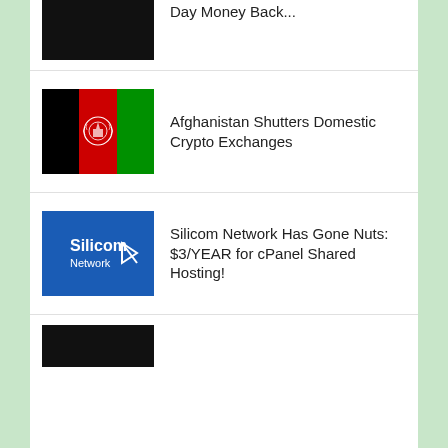Day Money Back...
Afghanistan Shutters Domestic Crypto Exchanges
Silicom Network Has Gone Nuts: $3/YEAR for cPanel Shared Hosting!
[Figure (photo): Black image thumbnail at bottom]
(partial item at bottom)